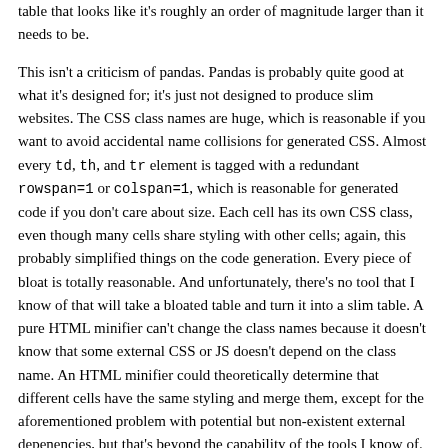table that looks like it's roughly an order of magnitude larger than it needs to be.
This isn't a criticism of pandas. Pandas is probably quite good at what it's designed for; it's just not designed to produce slim websites. The CSS class names are huge, which is reasonable if you want to avoid accidental name collisions for generated CSS. Almost every td, th, and tr element is tagged with a redundant rowspan=1 or colspan=1, which is reasonable for generated code if you don't care about size. Each cell has its own CSS class, even though many cells share styling with other cells; again, this probably simplified things on the code generation. Every piece of bloat is totally reasonable. And unfortunately, there's no tool that I know of that will take a bloated table and turn it into a slim table. A pure HTML minifier can't change the class names because it doesn't know that some external CSS or JS doesn't depend on the class name. An HTML minifier could theoretically determine that different cells have the same styling and merge them, except for the aforementioned problem with potential but non-existent external depenencies, but that's beyond the capability of the tools I know of.
For another level of ironic, consider that while I think of a 50kB table as bloat, this page is 12kB when gzipped, even with all of the bloat. Google's AMP currently has > 100kB of blocking javascript that has to load before the content loads. The sheer amount of waste t...